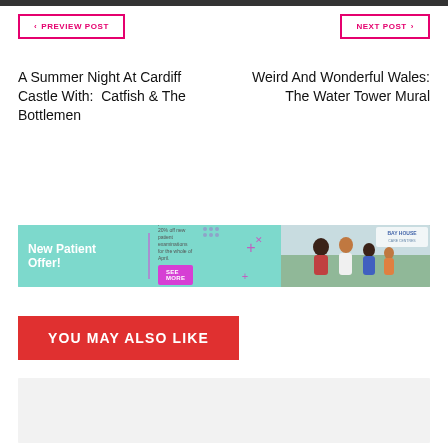< PREVIEW POST
NEXT POST >
A Summer Night At Cardiff Castle With:  Catfish & The Bottlemen
Weird And Wonderful Wales: The Water Tower Mural
[Figure (infographic): Bay House New Patient Offer advertisement banner with teal background, bold white text 'New Patient Offer!', descriptive text about 20% off, SEE MORE button in purple, and a family photo on the right with Bay House logo.]
YOU MAY ALSO LIKE
[Figure (other): Gray placeholder card at the bottom of the page]